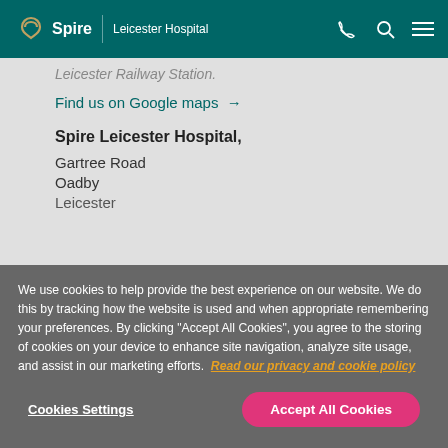Spire Leicester Hospital
Leicester Railway Station.
Find us on Google maps →
Spire Leicester Hospital,
Gartree Road
Oadby
Leicester
We use cookies to help provide the best experience on our website. We do this by tracking how the website is used and when appropriate remembering your preferences. By clicking "Accept All Cookies", you agree to the storing of cookies on your device to enhance site navigation, analyze site usage, and assist in our marketing efforts. Read our privacy and cookie policy
Cookies Settings
Accept All Cookies